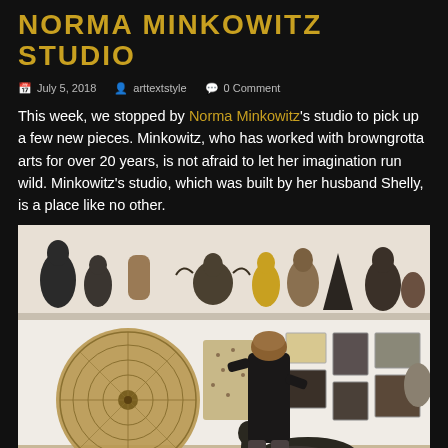NORMA MINKOWITZ STUDIO
July 5, 2018   arttextstyle   0 Comment
This week, we stopped by Norma Minkowitz's studio to pick up a few new pieces. Minkowitz, who has worked with browngrotta arts for over 20 years, is not afraid to let her imagination run wild. Minkowitz's studio, which was built by her husband Shelly, is a place like no other.
[Figure (photo): Interior view of Norma Minkowitz's studio showing a woman in black clothing viewing artwork hung on white walls, with various sculptures displayed on a high shelf including dark and tan human figures, and mixed media works on the wall including a large circular woven piece, framed artworks, and sculptural objects. A large dark bird sculpture is in the foreground.]